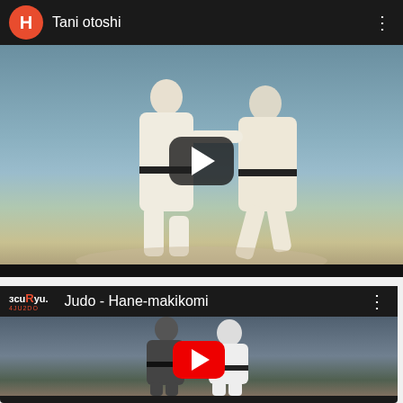[Figure (screenshot): YouTube-style video thumbnail card showing Judo technique 'Tani otoshi' with two judoka in white gi on blue mat, dark play button overlay, channel avatar H in orange circle]
[Figure (screenshot): YouTube video thumbnail card showing 'Judo - Hane-makikomi' with two judoka grappling, red YouTube play button overlay, channel logo 'acuRyu 4JU2DO']